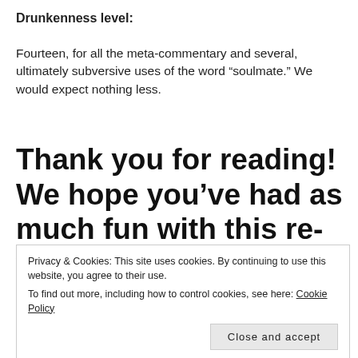Drunkenness level:
Fourteen, for all the meta-commentary and several, ultimately subversive uses of the word “soulmate.” We would expect nothing less.
Thank you for reading! We hope you’ve had as much fun with this re-watch as we did. 🙂
Final thoughts here
Privacy & Cookies: This site uses cookies. By continuing to use this website, you agree to their use.
To find out more, including how to control cookies, see here: Cookie Policy
Close and accept
The go-to app